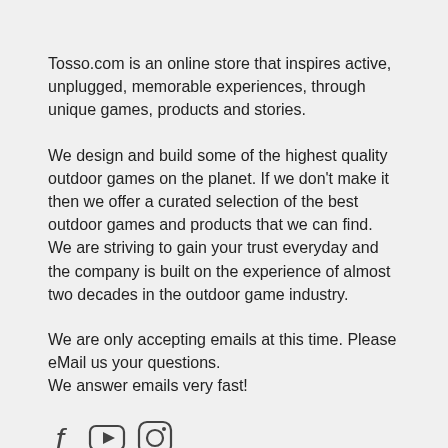Tosso.com is an online store that inspires active, unplugged, memorable experiences, through unique games, products and stories.
We design and build some of the highest quality outdoor games on the planet. If we don't make it then we offer a curated selection of the best outdoor games and products that we can find. We are striving to gain your trust everyday and the company is built on the experience of almost two decades in the outdoor game industry.
We are only accepting emails at this time. Please eMail us your questions.
We answer emails very fast!
[Figure (illustration): Social media icons: Facebook, YouTube, Instagram]